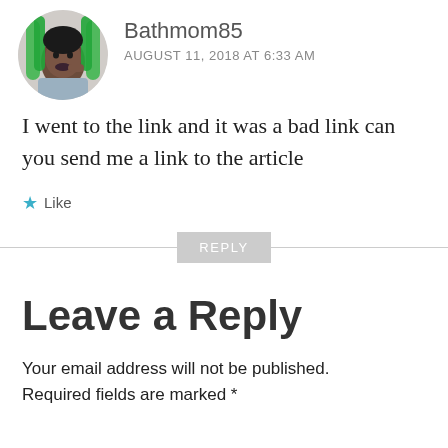[Figure (photo): Circular avatar photo of commenter Bathmom85, a person with green braided hair wearing a grey shirt]
Bathmom85
AUGUST 11, 2018 AT 6:33 AM
I went to the link and it was a bad link can you send me a link to the article
Like
REPLY
Leave a Reply
Your email address will not be published.
Required fields are marked *